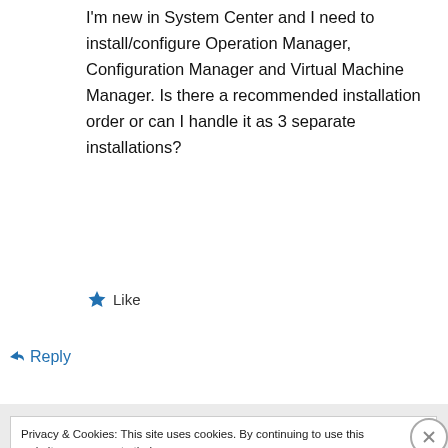I'm new in System Center and I need to install/configure Operation Manager, Configuration Manager and Virtual Machine Manager. Is there a recommended installation order or can I handle it as 3 separate installations?
★ Like
↪ Reply
Privacy & Cookies: This site uses cookies. By continuing to use this website, you agree to their use.
To find out more, including how to control cookies, see here: Cookie Policy
Close and accept